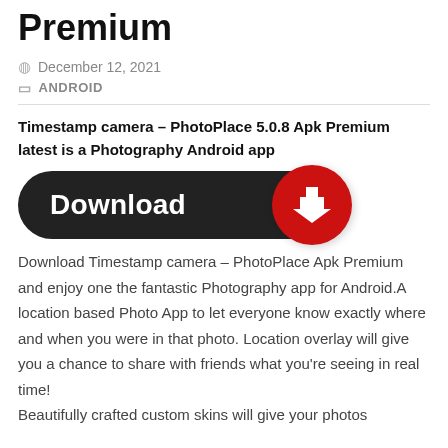Premium
December 12, 2021
ANDROID
Timestamp camera – PhotoPlace 5.0.8 Apk Premium latest is a Photography Android app
[Figure (illustration): A dark pill-shaped download button with white bold text 'Download' and a red circle on the right containing a white downward arrow icon.]
Download Timestamp camera – PhotoPlace Apk Premium and enjoy one the fantastic Photography app for Android.A location based Photo App to let everyone know exactly where and when you were in that photo. Location overlay will give you a chance to share with friends what you're seeing in real time! Beautifully crafted custom skins will give your photos